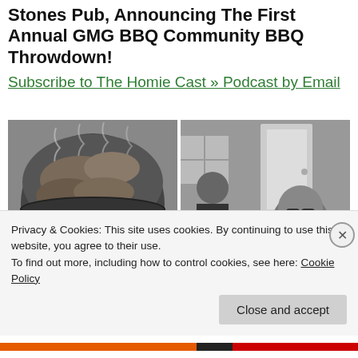Stones Pub, Announcing The First Annual GMG BBQ Community BBQ Throwdown!
Subscribe to The Homie Cast » Podcast by Email
[Figure (photo): Two side-by-side black and white photos: left shows BBQ meat cooking on a large round smoker grill; right shows people sitting at a table, one man in foreground with glasses looking at phone]
Privacy & Cookies: This site uses cookies. By continuing to use this website, you agree to their use.
To find out more, including how to control cookies, see here: Cookie Policy
Close and accept